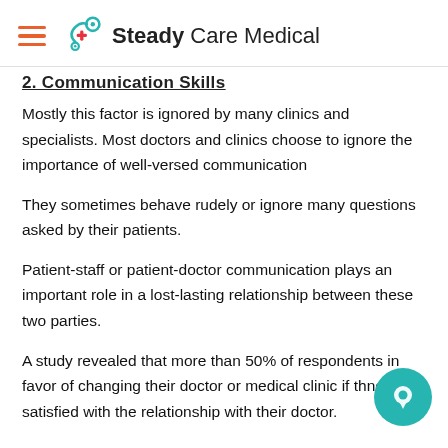Steady Care Medical
2. Communication Skills
Mostly this factor is ignored by many clinics and specialists. Most doctors and clinics choose to ignore the importance of well-versed communication
They sometimes behave rudely or ignore many questions asked by their patients.
Patient-staff or patient-doctor communication plays an important role in a lost-lasting relationship between these two parties.
A study revealed that more than 50% of respondents in favor of changing their doctor or medical clinic if they not satisfied with the relationship with their doctor.